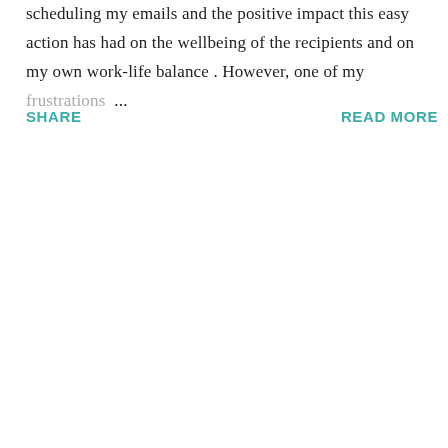scheduling my emails and the positive impact this easy action has had on the wellbeing of the recipients and on my own work-life balance . However, one of my frustrations ...
SHARE
READ MORE